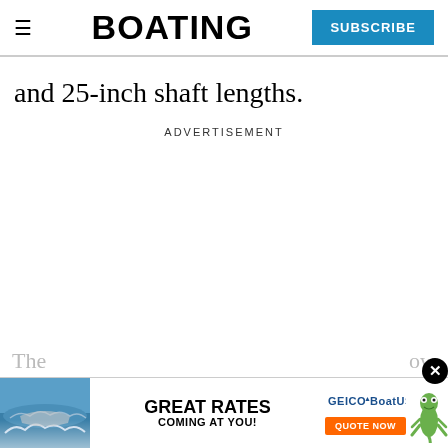BOATING | SUBSCRIBE
and 25-inch shaft lengths.
ADVERTISEMENT
[Figure (photo): GEICO BoatUS advertisement banner showing a boat on water with text 'GREAT RATES COMING AT YOU!' and a gecko mascot, with a 'QUOTE NOW' button]
The ... ow